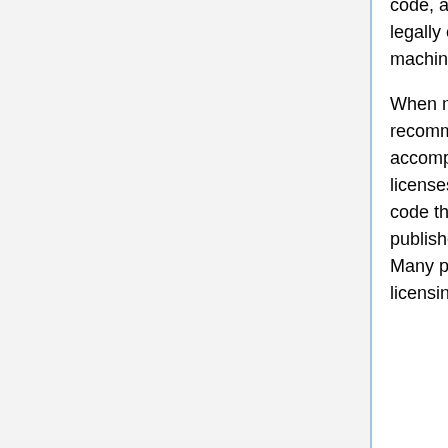code, and the machine-readable metadata. The Public Domain Mark is not legally operative, and so has only two layers: the human-readable mark and machine-readable metadata.
When material is licensed using any of the CC licenses or tools, it is highly recommended that a CC button, text, or other marker somehow accompany it. There are many possible modes for marking. For our licenses, people generally use the CC license chooser to generate HTML code that can be pasted into the webpage where the licensed material is published. CC0 and the Public Domain Mark have a separate chooser. Many platforms and web services such as Flickr and Drupal support CC licensing directly, allowing you to select an appropriate license. The